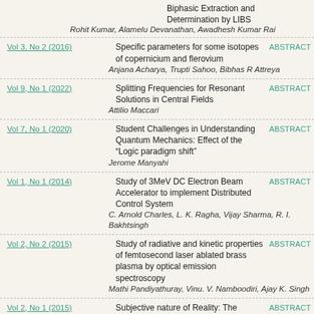Biphasic Extraction and Determination by LIBS
Rohit Kumar, Alamelu Devanathan, Awadhesh Kumar Rai
Vol 3, No 2 (2016) | Specific parameters for some isotopes of copernicium and flerovium | ABSTRACT
Anjana Acharya, Trupti Sahoo, Bibhas R Attreya
Vol 9, No 1 (2022) | Splitting Frequencies for Resonant Solutions in Central Fields | ABSTRACT
Attilio Maccari
Vol 7, No 1 (2020) | Student Challenges in Understanding Quantum Mechanics: Effect of the "Logic paradigm shift" | ABSTRACT
Jerome Manyahi
Vol 1, No 1 (2014) | Study of 3MeV DC Electron Beam Accelerator to implement Distributed Control System | ABSTRACT
C. Arnold Charles, L. K. Ragha, Vijay Sharma, R. I. Bakhtsingh
Vol 2, No 2 (2015) | Study of radiative and kinetic properties of femtosecond laser ablated brass plasma by optical emission spectroscopy | ABSTRACT
Mathi Pandiyathuray, Vinu. V. Namboodiri, Ajay K. Singh
Vol 2, No 1 (2015) | Subjective nature of Reality: The Metabrain and Schroedinger's Cat | ABSTRACT
Thomas G. Schumann
Vol 8, No 1 (2021) | Superconducting State Parameters of IN(1-x)-Tl(x) Binary Alloys | ABSTRACT
Aditya M Vora